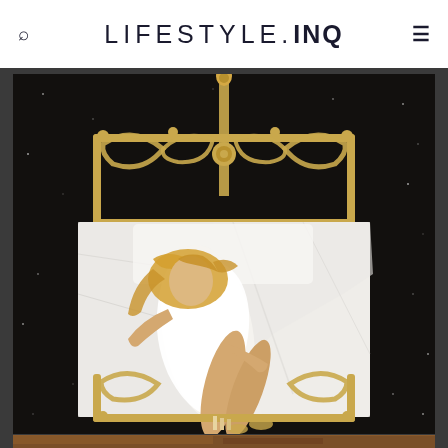LIFESTYLE.INQ
[Figure (photo): A blonde woman in a white dress lying on a bed with ornate gold/brass headboard and footboard, with white bedding. Dark starry background. The woman is posed on her back with legs extended toward the footboard.]
[Figure (photo): Partial view of a second photo at the bottom of the page, showing a reddish-brown rooftop or building edge.]